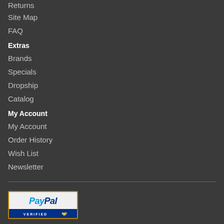Returns
Site Map
FAQ
Extras
Brands
Specials
Dropship
Catalog
My Account
My Account
Order History
Wish List
Newsletter
[Figure (logo): PayPal Verified badge logo with blue and gold border]